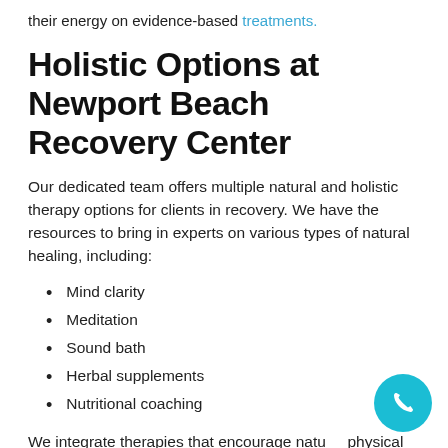their energy on evidence-based treatments.
Holistic Options at Newport Beach Recovery Center
Our dedicated team offers multiple natural and holistic therapy options for clients in recovery. We have the resources to bring in experts on various types of natural healing, including:
Mind clarity
Meditation
Sound bath
Herbal supplements
Nutritional coaching
We integrate therapies that encourage natural physical wellness with traditional, evidence-based